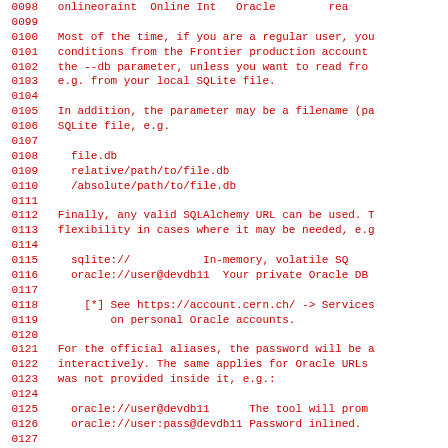0098   onlineoraint Online Int  Oracle       rea
0099
0100   Most of the time, if you are a regular user, you
0101   conditions from the Frontier production account
0102   the --db parameter, unless you want to read fro
0103   e.g. from your local SQLite file.
0104
0105   In addition, the parameter may be a filename (pa
0106   SQLite file, e.g.
0107
0108     file.db
0109     relative/path/to/file.db
0110     /absolute/path/to/file.db
0111
0112   Finally, any valid SQLAlchemy URL can be used. T
0113   flexibility in cases where it may be needed, e.g
0114
0115     sqlite://           In-memory, volatile SQ
0116     oracle://user@devdb11  Your private Oracle DB
0117
0118       [*] See https://account.cern.ch/ -> Services
0119           on personal Oracle accounts.
0120
0121   For the official aliases, the password will be a
0122   interactively. The same applies for Oracle URLs
0123   was not provided inside it, e.g.:
0124
0125     oracle://user@devdb11      The tool will prom
0126     oracle://user:pass@devdb11 Password inlined.
0127